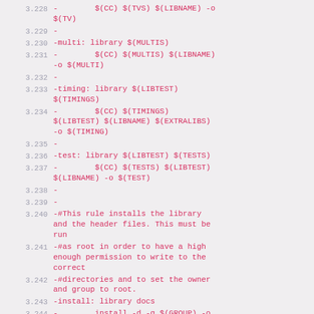3.228  -        $(CC) $(TVS) $(LIBNAME) -o $(TV)
3.229  -
3.230  -multi: library $(MULTIS)
3.231  -        $(CC) $(MULTIS) $(LIBNAME) -o $(MULTI)
3.232  -
3.233  -timing: library $(LIBTEST) $(TIMINGS)
3.234  -        $(CC) $(TIMINGS) $(LIBTEST) $(LIBNAME) $(EXTRALIBS) -o $(TIMING)
3.235  -
3.236  -test: library $(LIBTEST) $(TESTS)
3.237  -        $(CC) $(TESTS) $(LIBTEST) $(LIBNAME) -o $(TEST)
3.238  -
3.239  -
3.240  -#This rule installs the library and the header files. This must be run
3.241  -#as root in order to have a high enough permission to write to the correct
3.242  -#directories and to set the owner and group to root.
3.243  -install: library docs
3.244  -        install -d -g $(GROUP) -o $(USER) $(DESTDIR)$(LIBPATH)
3.245  -        install -d -g $(GROUP) -o